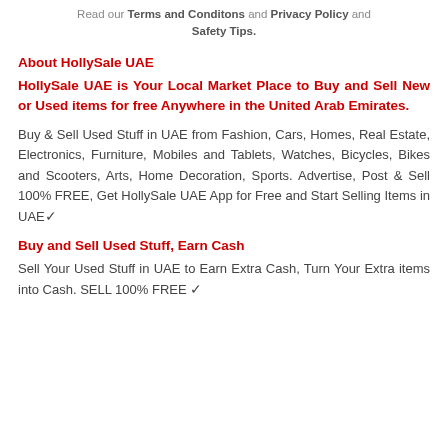Read our Terms and Conditons and Privacy Policy and Safety Tips.
About HollySale UAE
HollySale UAE is Your Local Market Place to Buy and Sell New or Used items for free Anywhere in the United Arab Emirates.
Buy & Sell Used Stuff in UAE from Fashion, Cars, Homes, Real Estate, Electronics, Furniture, Mobiles and Tablets, Watches, Bicycles, Bikes and Scooters, Arts, Home Decoration, Sports. Advertise, Post & Sell 100% FREE, Get HollySale UAE App for Free and Start Selling Items in UAE ✓
Buy and Sell Used Stuff, Earn Cash
Sell Your Used Stuff in UAE to Earn Extra Cash, Turn Your Extra items into Cash. SELL 100% FREE ✓